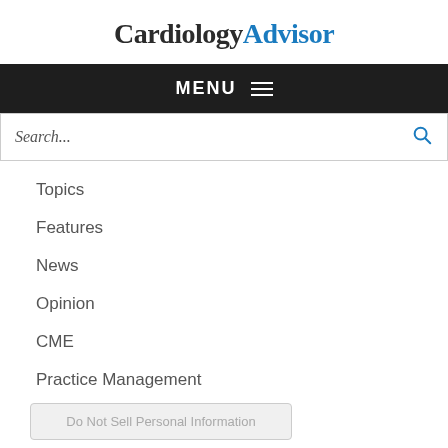CardiologyAdvisor
MENU
Search...
Topics
Features
News
Opinion
CME
Practice Management
Do Not Sell Personal Information